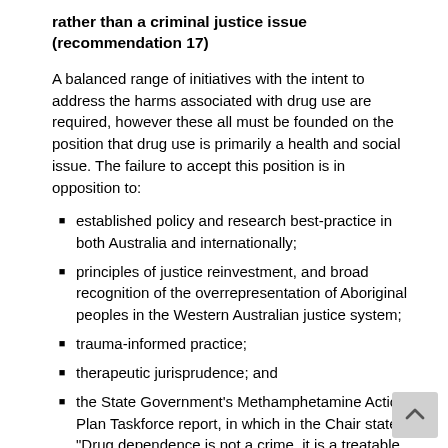rather than a criminal justice issue (recommendation 17)
A balanced range of initiatives with the intent to address the harms associated with drug use are required, however these all must be founded on the position that drug use is primarily a health and social issue. The failure to accept this position is in opposition to:
established policy and research best-practice in both Australia and internationally;
principles of justice reinvestment, and broad recognition of the overrepresentation of Aboriginal peoples in the Western Australian justice system;
trauma-informed practice;
therapeutic jurisprudence; and
the State Government's Methamphetamine Action Plan Taskforce report, in which in the Chair states "Drug dependence is not a crime, it is a treatable health problem often underpinned by social disadvantage".